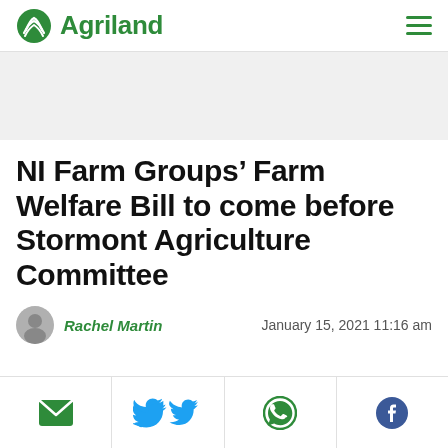Agriland
NI Farm Groups’ Farm Welfare Bill to come before Stormont Agriculture Committee
Rachel Martin — January 15, 2021 11:16 am